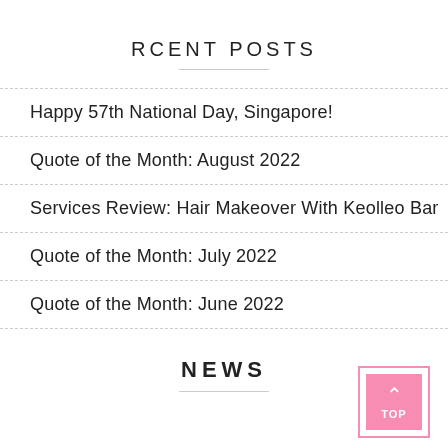RCENT POSTS
Happy 57th National Day, Singapore!
Quote of the Month: August 2022
Services Review: Hair Makeover With Keolleo Bar
Quote of the Month: July 2022
Quote of the Month: June 2022
NEWS